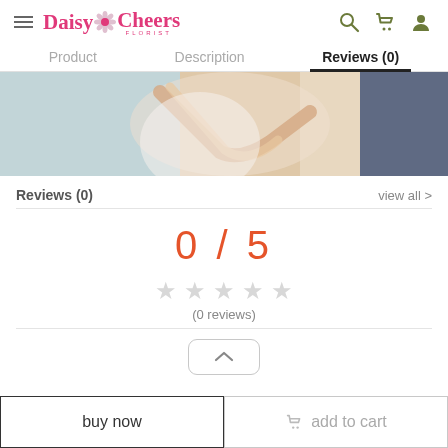Daisy Cheers Florist - navigation header with hamburger menu, logo, search, cart, and user icons
Product | Description | Reviews (0)
[Figure (photo): Product photo showing a person holding ballet shoes or a floral arrangement, with muted blue-gray and peach tones]
Reviews (0)
view all >
0 / 5
(0 reviews)
buy now
add to cart